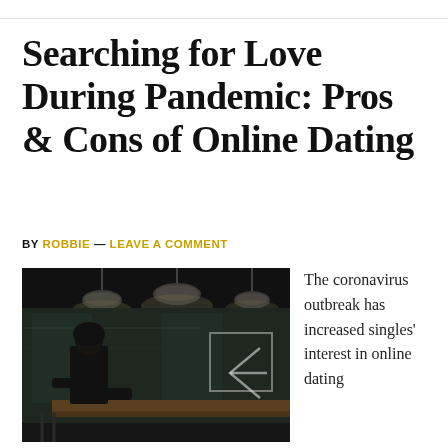Searching for Love During Pandemic: Pros & Cons of Online Dating
BY ROBBIE — LEAVE A COMMENT
[Figure (photo): A person in dark clothing standing alone at a bar or counter in a dimly lit cafe or restaurant at night, with pendant lights hanging from the ceiling and a chalkboard sign visible in the background.]
The coronavirus outbreak has increased singles' interest in online dating